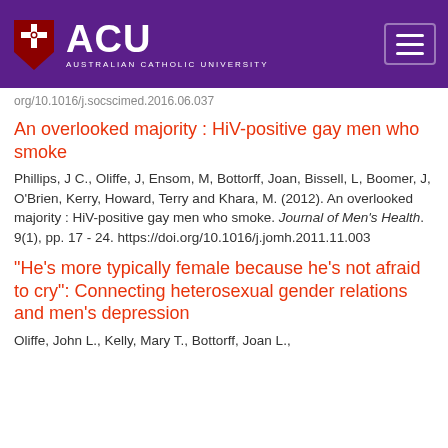ACU — Australian Catholic University
org/10.1016/j.socscimed.2016.06.037
An overlooked majority : HiV-positive gay men who smoke
Phillips, J C., Oliffe, J, Ensom, M, Bottorff, Joan, Bissell, L, Boomer, J, O'Brien, Kerry, Howard, Terry and Khara, M. (2012). An overlooked majority : HiV-positive gay men who smoke. Journal of Men's Health. 9(1), pp. 17 - 24. https://doi.org/10.1016/j.jomh.2011.11.003
"He's more typically female because he's not afraid to cry": Connecting heterosexual gender relations and men's depression
Oliffe, John L., Kelly, Mary T., Bottorff, Joan L.,